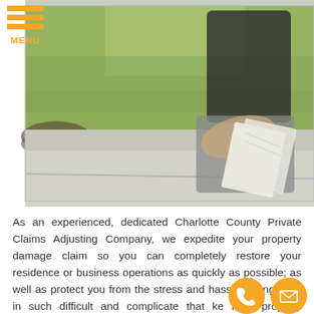[Figure (photo): A person crouching on a concrete driveway or sidewalk, reviewing paperwork on a clipboard. Green grass lawn visible in the background. Photo appears to show a property inspector or claims adjuster at work.]
As an experienced, dedicated Charlotte County Private Claims Adjusting Company, we expedite your property damage claim so you can completely restore your residence or business operations as quickly as possible; as well as protect you from the stress and hassle of engaging in such difficult and complicated that make filing property damage claims with your insurance carrier